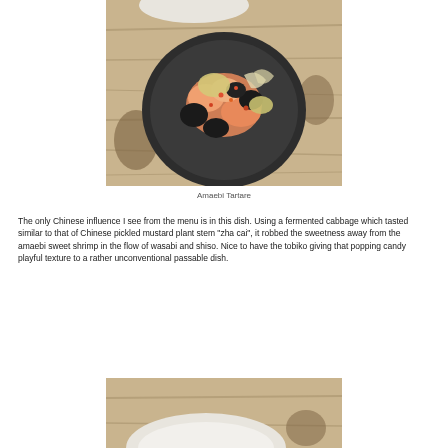[Figure (photo): A dark ceramic plate on a wooden surface with Amaebi Tartare dish — shrimp with fermented cabbage, dark elements, colorful toppings on a rustic wooden table]
Amaebi Tartare
The only Chinese influence I see from the menu is in this dish. Using a fermented cabbage which tasted similar to that of Chinese pickled mustard plant stem "zha cai", it robbed the sweetness away from the amaebi sweet shrimp in the flow of wasabi and shiso. Nice to have the tobiko giving that popping candy playful texture to a rather unconventional passable dish.
[Figure (photo): Partial view of a white ceramic bowl on a wooden surface, cropped at bottom of page]